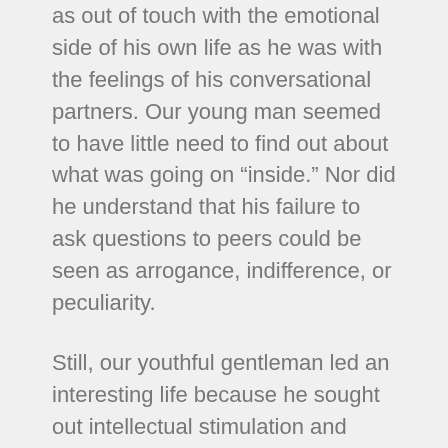as out of touch with the emotional side of his own life as he was with the feelings of his conversational partners. Our young man seemed to have little need to find out about what was going on “inside.” Nor did he understand that his failure to ask questions to peers could be seen as arrogance, indifference, or peculiarity.
Still, our youthful gentleman led an interesting life because he sought out intellectual stimulation and threw himself into numerous activities within the world of the sciences and the arts. But, it remained a solitary existence, even if it was no longer clear to what extent he felt marginalized, so cut-off did he seem from the matters that connect head and heart.